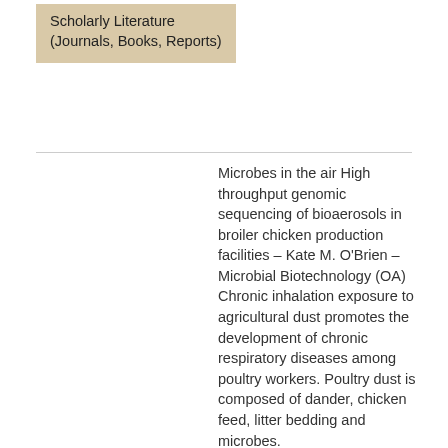Scholarly Literature (Journals, Books, Reports)
Microbes in the air High throughput genomic sequencing of bioaerosols in broiler chicken production facilities – Kate M. O'Brien – Microbial Biotechnology (OA) Chronic inhalation exposure to agricultural dust promotes the development of chronic respiratory diseases among poultry workers. Poultry dust is composed of dander, chicken feed, litter bedding and microbes.